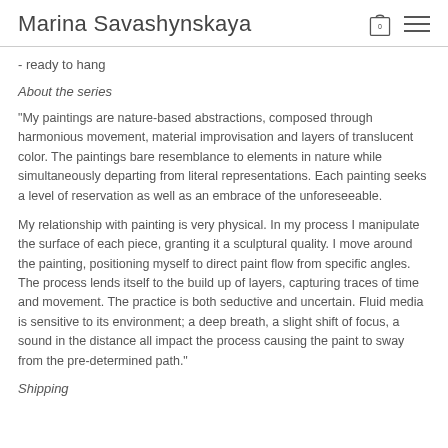Marina Savashynskaya
- ready to hang
About the series
"My paintings are nature-based abstractions, composed through harmonious movement, material improvisation and layers of translucent color. The paintings bare resemblance to elements in nature while simultaneously departing from literal representations. Each painting seeks a level of reservation as well as an embrace of the unforeseeable.
My relationship with painting is very physical. In my process I manipulate the surface of each piece, granting it a sculptural quality. I move around the painting, positioning myself to direct paint flow from specific angles. The process lends itself to the build up of layers, capturing traces of time and movement. The practice is both seductive and uncertain. Fluid media is sensitive to its environment; a deep breath, a slight shift of focus, a sound in the distance all impact the process causing the paint to sway from the pre-determined path."
Shipping